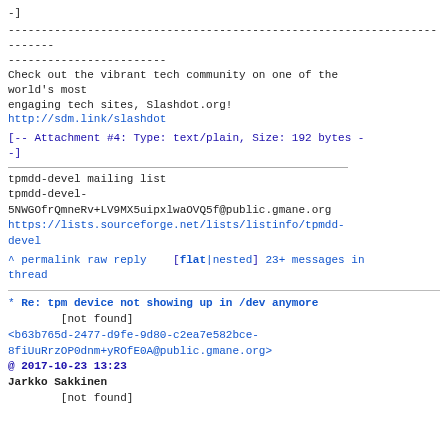-]
------------------------------------------------------------------------
------------------------
Check out the vibrant tech community on one of the world's most
engaging tech sites, Slashdot.org!
http://sdm.link/slashdot
[-- Attachment #4: Type: text/plain, Size: 192 bytes -
-]
tpmdd-devel mailing list
tpmdd-devel-5NWGOfrQmneRv+LV9MX5uipxlwaOVQ5f@public.gmane.org
https://lists.sourceforge.net/lists/listinfo/tpmdd-devel
^ permalink raw reply  [flat|nested] 23+ messages in thread
* Re: tpm device not showing up in /dev anymore
        [not found]
<b63b765d-2477-d9fe-9d80-c2ea7e582bce-8fiUuRrzOP0dnm+yROfE0A@public.gmane.org>
@ 2017-10-23 13:23
Jarkko Sakkinen
        [not found]